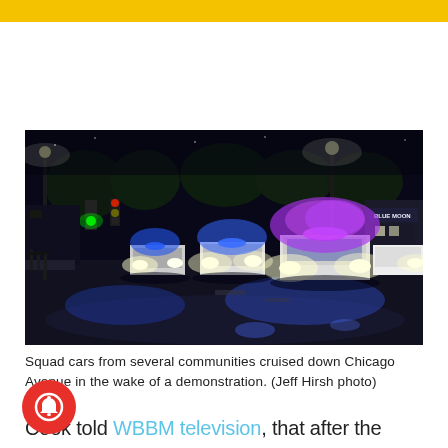[Figure (photo): Night scene of multiple police squad cars with blue and red flashing lights cruising down Chicago Avenue. Green traffic lights visible on the left, storefronts in the background including a 'Blue Moon' sign on the right.]
Squad cars from several communities cruised down Chicago Avenue in the wake of a demonstration. (Jeff Hirsh photo)
Cook told WBBM television, that after the